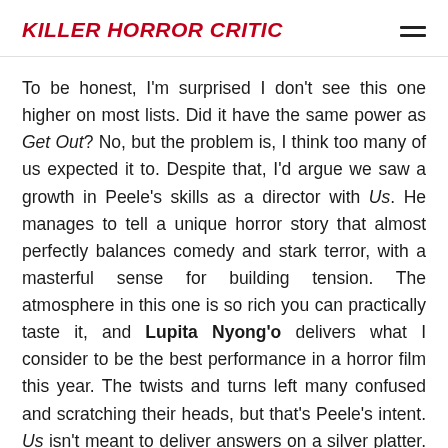KILLER HORROR CRITIC
To be honest, I'm surprised I don't see this one higher on most lists. Did it have the same power as Get Out? No, but the problem is, I think too many of us expected it to. Despite that, I'd argue we saw a growth in Peele's skills as a director with Us. He manages to tell a unique horror story that almost perfectly balances comedy and stark terror, with a masterful sense for building tension. The atmosphere in this one is so rich you can practically taste it, and Lupita Nyong'o delivers what I consider to be the best performance in a horror film this year. The twists and turns left many confused and scratching their heads, but that's Peele's intent. Us isn't meant to deliver answers on a silver platter. For me, the best horror films are the ones that leave audiences discussing and analyzing